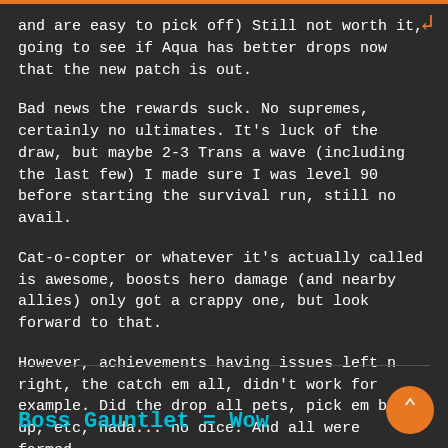and are easy to pick off) Still not worth it, going to see if Aqua has better drops now that the new patch is out.
Bad news the rewards suck. No supremes, certainly no ultimates. It's luck of the draw, but maybe 2-3 Trans a wave (including the last few) I made sure I was level 90 before starting the survival run, still no avail.
Cat-o-copter or whatever it's actually called is awesome, boosts hero damage (and nearby allies) only got a crappy one, but look forward to that.
However, achievements having issues left n right, the catch em all, didn't work for example. Did the drop all pets, pick em back up, etc, nada... no dice. And all were farmed.
MacPimpin out.
Boss Gauntlet = Wow